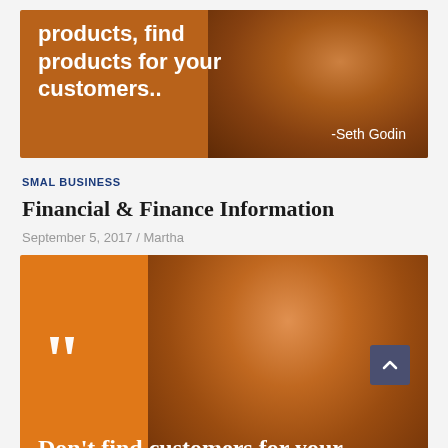[Figure (illustration): Orange background quote image with Seth Godin's face. Text reads: 'products, find products for your customers..' with attribution '-Seth Godin']
SMAL BUSINESS
Financial & Finance Information
September 5, 2017 / Martha
[Figure (illustration): Orange background quote image with a bald man's face and large opening quotation marks. Partial text at bottom reads: 'Don't find customers for your']